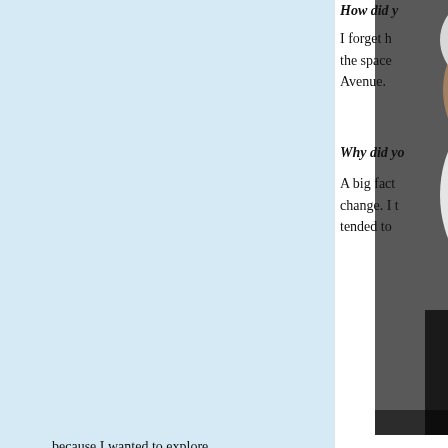[Figure (photo): An elderly man with a long white beard looking at his reflection in a mirror, holding a small object near his face. Black and white photograph.]
How did y
I forget h the space Avenue.
Why did yo
A big fact change. I t tended to because I wanted to explore.
What do you do at Milwaukee Makerspa
Just now, I've been using the space t paintings and things you might call sculp
What would you like to tell others abou
In my opinion, it is a very good and in variety and depth of knowledge and ski
What do you plan to work on in the nex